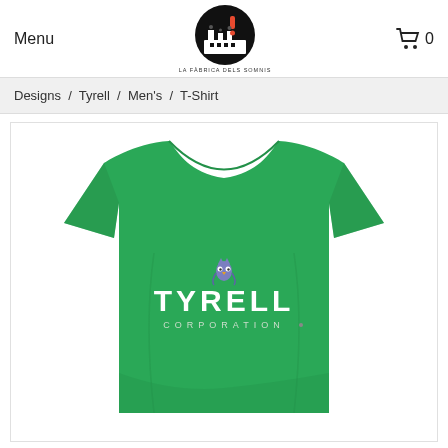Menu
[Figure (logo): La Fàbrica dels Somnis logo — black circle with factory and exclamation mark icon, text below reading LA FÀBRICA DELS SOMNIS]
🛒 0
Designs / Tyrell / Men's / T-Shirt
[Figure (photo): Green Tyrell Corporation t-shirt product photo on white background, with TYRELL in large white letters and CORPORATION in smaller letters below, plus a small owl logo above]